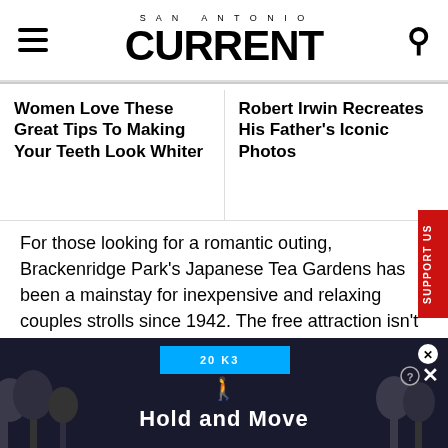SAN ANTONIO CURRENT
Women Love These Great Tips To Making Your Teeth Look Whiter
Robert Irwin Recreates His Father's Iconic Photos
For those looking for a romantic outing, Brackenridge Park's Japanese Tea Gardens has been a mainstay for inexpensive and relaxing couples strolls since 1942. The free attraction isn't as expansive as the San Antonio Botanical Garden, but its majestic greenery sets the stag
[Figure (screenshot): Advertisement banner showing 'Hold and Move' with a dark background, blue icon bar, and trees silhouette]